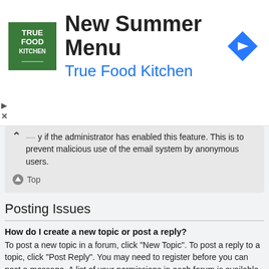[Figure (screenshot): Advertisement banner for True Food Kitchen New Summer Menu, with green logo, arrow navigation icon, play and close buttons.]
y if the administrator has enabled this feature. This is to prevent malicious use of the email system by anonymous users.
Top
Posting Issues
How do I create a new topic or post a reply?
To post a new topic in a forum, click "New Topic". To post a reply to a topic, click "Post Reply". You may need to register before you can post a message. A list of your permissions in each forum is available at the bottom of the forum and topic screens. Example: You can post new topics, You can post attachments, etc.
Top
How do I edit or delete a post?
Unless you are a board administrator or moderator, you can only edit or delete your own posts. You can edit a post by clicking the edit button for the relevant